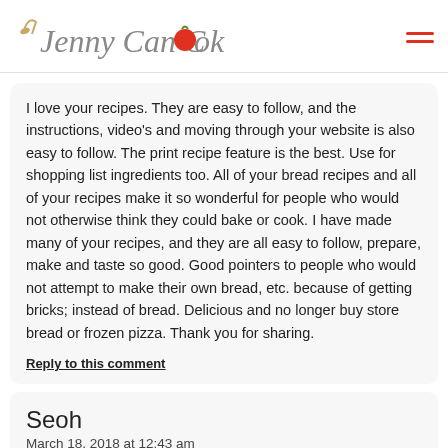Jenny Can Cook
I love your recipes. They are easy to follow, and the instructions, video's and moving through your website is also easy to follow. The print recipe feature is the best. Use for shopping list ingredients too. All of your bread recipes and all of your recipes make it so wonderful for people who would not otherwise think they could bake or cook. I have made many of your recipes, and they are all easy to follow, prepare, make and taste so good. Good pointers to people who would not attempt to make their own bread, etc. because of getting bricks; instead of bread. Delicious and no longer buy store bread or frozen pizza. Thank you for sharing.
Reply to this comment
Seoh
March 18, 2018 at 12:43 am